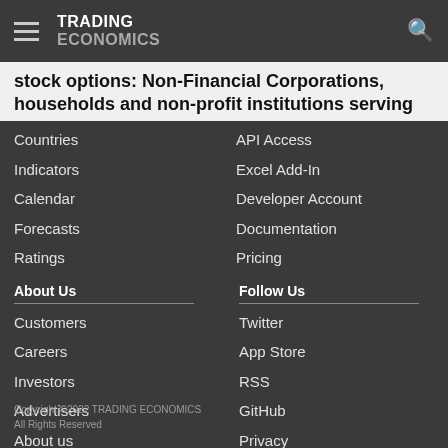TRADING ECONOMICS
stock options: Non-Financial Corporations, households and non-profit institutions serving
Countries
Indicators
Calendar
Forecasts
Ratings
API Access
Excel Add-In
Developer Account
Documentation
Pricing
About Us
Customers
Careers
Investors
Advertisers
About us
Follow Us
Twitter
App Store
RSS
GitHub
Privacy
Copyright ©2022 TRADING ECONOMICS
All Rights Reserved